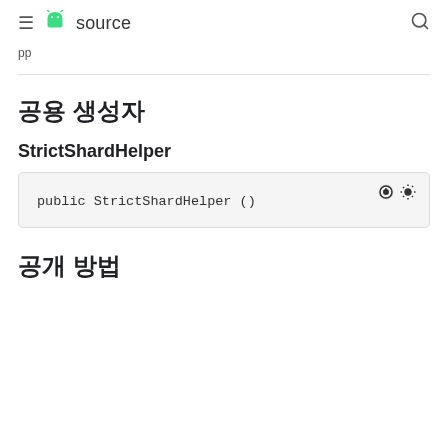≡ android source 🔍
...pp...
공용 생성자
StrictShardHelper
public StrictShardHelper ()
공개 방법